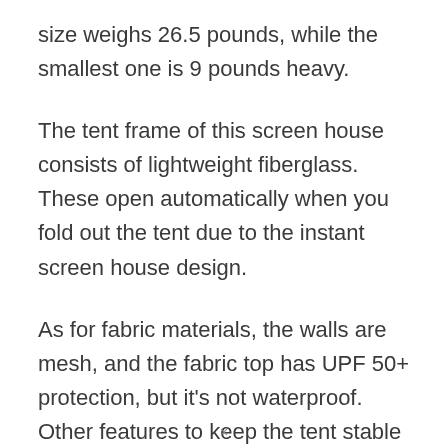size weighs 26.5 pounds, while the smallest one is 9 pounds heavy.
The tent frame of this screen house consists of lightweight fiberglass. These open automatically when you fold out the tent due to the instant screen house design.
As for fabric materials, the walls are mesh, and the fabric top has UPF 50+ protection, but it's not waterproof. Other features to keep the tent stable in the wind include
×